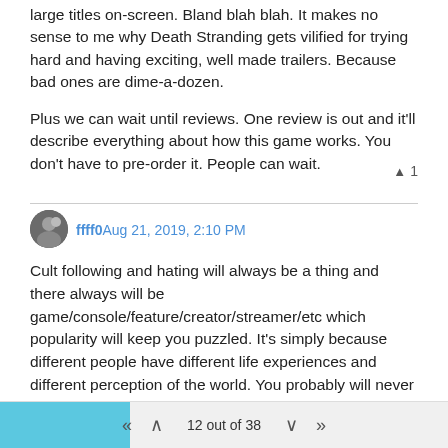large titles on-screen. Bland blah blah. It makes no sense to me why Death Stranding gets vilified for trying hard and having exciting, well made trailers. Because bad ones are dime-a-dozen.
Plus we can wait until reviews. One review is out and it'll describe everything about how this game works. You don't have to pre-order it. People can wait.
▲ 1
ffff0 Aug 21, 2019, 2:10 PM
Cult following and hating will always be a thing and there always will be game/console/feature/creator/streamer/etc which popularity will keep you puzzled. It's simply because different people have different life experiences and different perception of the world. You probably will never change their minds and they probably will never change yours, because one side's arguments seems insignificant to another's. That doesn't mean that one side is right and another is wrong, they just look at the same thing from different angles.
Sure, it's a shame that Death Stranding marketing doesn't cater to
12 out of 38